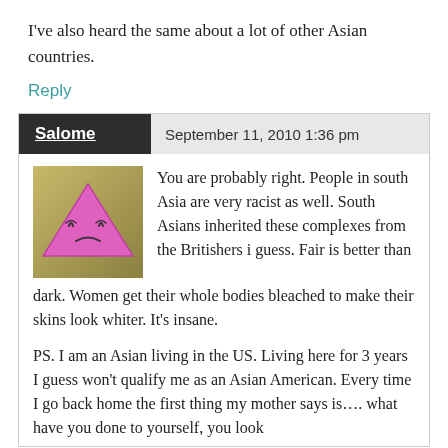I've also heard the same about a lot of other Asian countries.
Reply
Salome   September 11, 2010 1:36 pm
[Figure (illustration): Avatar image: cartoon sad pink triangle face on olive/gold background]
You are probably right. People in south Asia are very racist as well. South Asians inherited these complexes from the Britishers i guess. Fair is better than dark. Women get their whole bodies bleached to make their skins look whiter. It's insane.
PS. I am an Asian living in the US. Living here for 3 years I guess won't qualify me as an Asian American. Every time I go back home the first thing my mother says is…. what have you done to yourself, you look